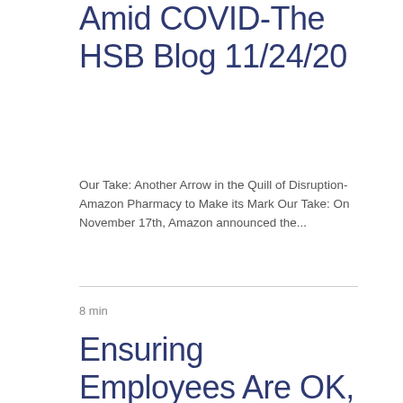Amid COVID-The HSB Blog 11/24/20
Our Take: Another Arrow in the Quill of Disruption-Amazon Pharmacy to Make its Mark Our Take: On November 17th, Amazon announced the...
8 min
Ensuring Employees Are OK, Race and Patient Experience, FDA on Trial